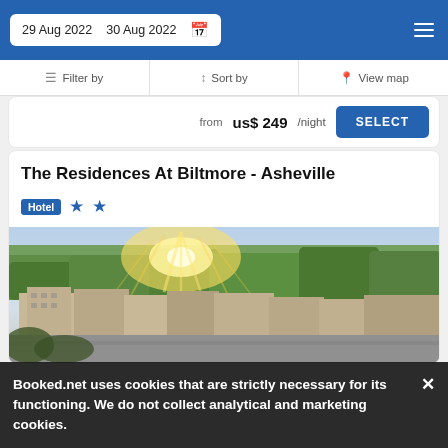29 Aug 2022  30 Aug 2022
Filter by  Sort by  View map
from us$ 249/night SELECT
The Residences At Biltmore - Asheville
Hotel ★★
[Figure (photo): Exterior photo of The Residences At Biltmore hotel building at sunset with golden sunrays over trees]
Booked.net uses cookies that are strictly necessary for its functioning. We do not collect analytical and marketing cookies.